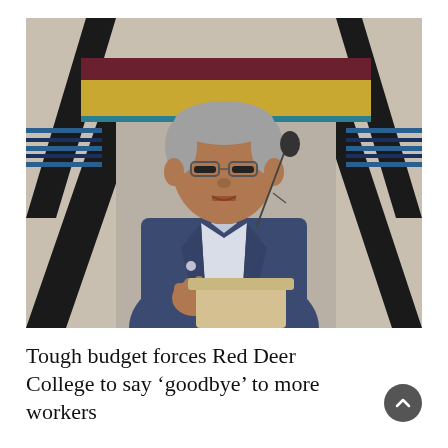[Figure (photo): A man in a dark blue suit standing at a podium with a microphone, speaking. He wears glasses and a pin on his lapel. The background features a colorful woven textile with black, blue, gold, and red patterns.]
Tough budget forces Red Deer College to say ‘goodbye’ to more workers